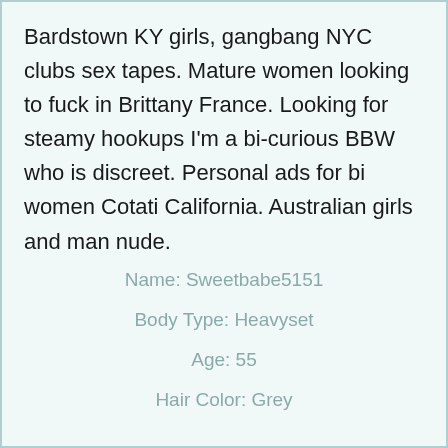Bardstown KY girls, gangbang NYC clubs sex tapes. Mature women looking to fuck in Brittany France. Looking for steamy hookups I'm a bi-curious BBW who is discreet. Personal ads for bi women Cotati California. Australian girls and man nude.
Name: Sweetbabe5151
Body Type: Heavyset
Age: 55
Hair Color: Grey